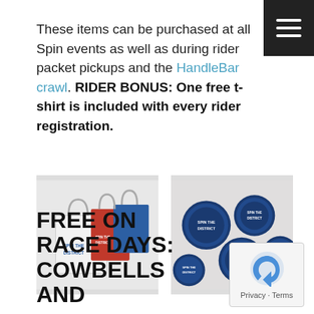These items can be purchased at all Spin events as well as during rider packet pickups and the HandleBar crawl. RIDER BONUS: One free t-shirt is included with every rider registration.
[Figure (photo): Three cowbell-shaped bags in white, red, and blue labeled 'Spin the District']
[Figure (photo): Multiple round blue stickers with bicycle graphic labeled 'Spin the District']
FREE ON RACE DAYS: COWBELLS AND